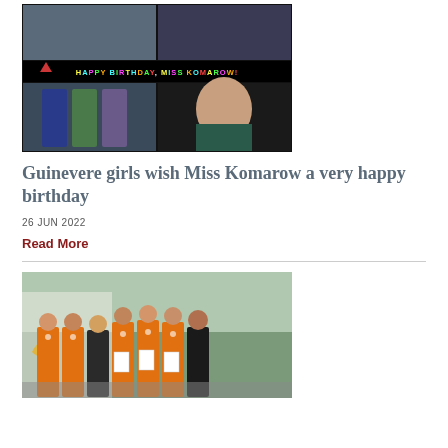[Figure (photo): Birthday collage photo for Miss Komarow with multiple group photos and text 'HAPPY BIRTHDAY, MISS KOMAROW!']
Guinevere girls wish Miss Komarow a very happy birthday
26 JUN 2022
Read More
[Figure (photo): Group photo of teenagers and adult in orange sports jerseys holding certificates and trophies outdoors]